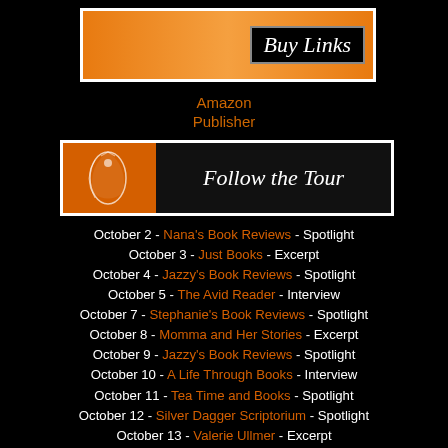[Figure (illustration): Buy Links banner with orange gradient background and black text box with white italic text reading 'Buy Links']
Amazon
Publisher
[Figure (illustration): Follow the Tour banner with orange left section and black right section with white italic text reading 'Follow the Tour']
October 2 - Nana's Book Reviews - Spotlight
October 3 - Just Books - Excerpt
October 4 - Jazzy's Book Reviews - Spotlight
October 5 - The Avid Reader - Interview
October 7 - Stephanie's Book Reviews - Spotlight
October 8 - Momma and Her Stories - Excerpt
October 9 - Jazzy's Book Reviews - Spotlight
October 10 - A Life Through Books - Interview
October 11 - Tea Time and Books - Spotlight
October 12 - Silver Dagger Scriptorium - Spotlight
October 13 - Valerie Ullmer - Excerpt